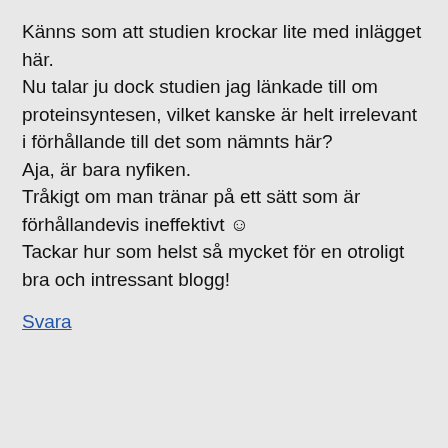Känns som att studien krockar lite med inlägget här.
Nu talar ju dock studien jag länkade till om proteinsyntesen, vilket kanske är helt irrelevant i förhållande till det som nämnts här?
Aja, är bara nyfiken.
Tråkigt om man tränar på ett sätt som är förhållandevis ineffektivt 😊
Tackar hur som helst så mycket för en otroligt bra och intressant blogg!
Svara